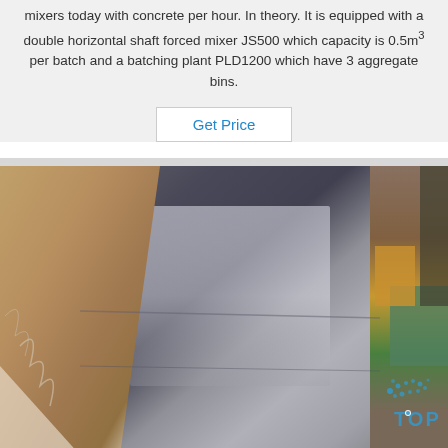mixers today with concrete per hour. In theory. It is equipped with a double horizontal shaft forced mixer JS500 which capacity is 0.5m³ per batch and a batching plant PLD1200 which have 3 aggregate bins.
Get Price
[Figure (photo): Photo of a metallic/steel sheet or panel, wrapped in brown paper/plastic packaging material. The sheet appears smooth and reflective with a blue-grey metallic surface. Brown packaging material is visible on the left and right sides. A 'TOP' branded watermark logo with blue dot pattern appears in the lower right corner.]